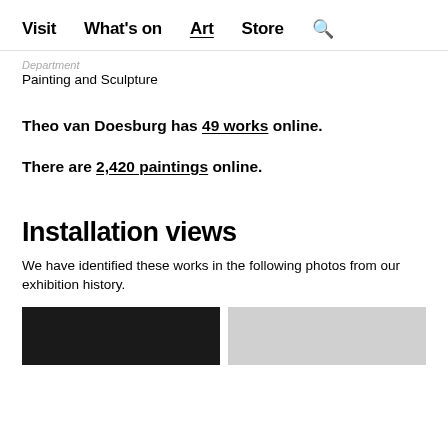Visit  What's on  Art  Store  🔍
Department
Painting and Sculpture
Theo van Doesburg has 49 works online.
There are 2,420 paintings online.
Installation views
We have identified these works in the following photos from our exhibition history.
[Figure (photo): Two installation view photo thumbnails, one dark/black and one light/grey]